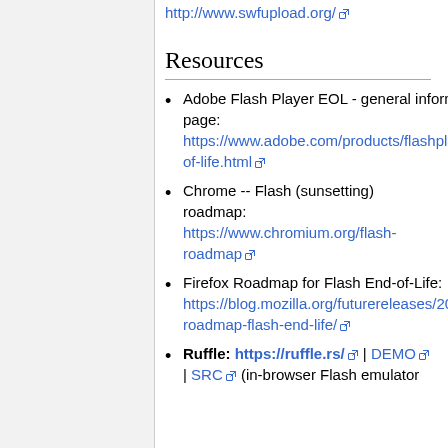http://www.swfupload.org/
Resources
Adobe Flash Player EOL - general information page: https://www.adobe.com/products/flashplayer/end-of-life.html
Chrome -- Flash (sunsetting) roadmap: https://www.chromium.org/flash-roadmap
Firefox Roadmap for Flash End-of-Life: https://blog.mozilla.org/futurereleases/2017/07/25/firefox-roadmap-flash-end-life/
Ruffle: https://ruffle.rs/ | DEMO | SRC (in-browser Flash emulator